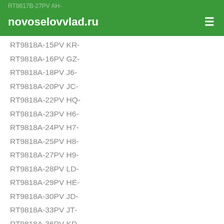RT9817B-27PV AH-
novoselovvlad.ru
RT9818A-15PV KR-
RT9818A-16PV GZ-
RT9818A-18PV J6-
RT9818A-20PV JC-
RT9818A-22PV HQ-
RT9818A-23PV H6-
RT9818A-24PV H7-
RT9818A-25PV H8-
RT9818A-27PV H9-
RT9818A-28PV LD-
RT9818A-29PV HE-
RT9818A-30PV JD-
RT9818A-33PV JT-
RT9818A-36PV KD-
RT9818B-14PV J0-
RT9818B-15PV J4-
RT9818B-16PV J5-
RT9818B-16PVL GX-